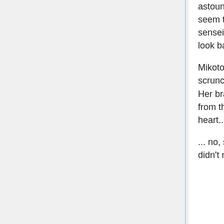astounding presence of their DODGEBALL SAVIOUR, but Mikoto doesn't seem to notice whether she might be being rude. She blinks, as Croix-sensei lists off a series of statistics which are probably impressive, only to look back over to her as her tone rises with her finger.
Mikoto's face lops to the side as Croix speaks on emotion, one side scrunching as her other brow rises up, all tilted to the gravity of her claims. Her braids do not dangle as much as stick to the side of her face, damp from the sterilised water. If she can take the measure of her obsidian heart...
... no, she tells herself, it's fine. Last time the doctors measured hers, they didn't notice she was sharing. Normal people